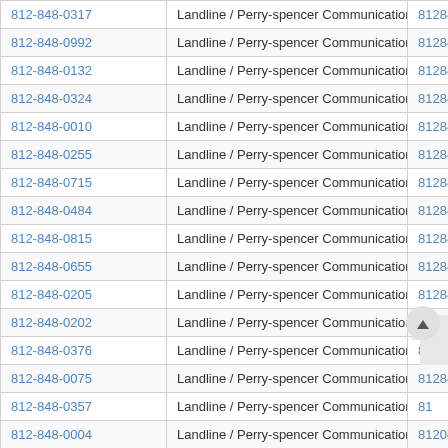| Phone | Type | Number |
| --- | --- | --- |
| 812-848-0317 | Landline / Perry-spencer Communications | 8128480317 |
| 812-848-0992 | Landline / Perry-spencer Communications | 8128480992 |
| 812-848-0132 | Landline / Perry-spencer Communications | 8128480132 |
| 812-848-0324 | Landline / Perry-spencer Communications | 8128480324 |
| 812-848-0010 | Landline / Perry-spencer Communications | 8128480010 |
| 812-848-0255 | Landline / Perry-spencer Communications | 8128480255 |
| 812-848-0715 | Landline / Perry-spencer Communications | 8128480715 |
| 812-848-0484 | Landline / Perry-spencer Communications | 8128480484 |
| 812-848-0815 | Landline / Perry-spencer Communications | 8128480815 |
| 812-848-0655 | Landline / Perry-spencer Communications | 8128480655 |
| 812-848-0205 | Landline / Perry-spencer Communications | 8128480205 |
| 812-848-0202 | Landline / Perry-spencer Communications | 8128480202 |
| 812-848-0376 | Landline / Perry-spencer Communications | 8128480376 |
| 812-848-0075 | Landline / Perry-spencer Communications | 8128480075 |
| 812-848-0357 | Landline / Perry-spencer Communications | 81... |
| 812-848-0004 | Landline / Perry-spencer Communications | 812...04 |
| 812-848-0608 | Landline / Perry-spencer Communications | 8128480608 |
| 812-848-0260 | Landline / Perry-spencer Communications | 8128480260 |